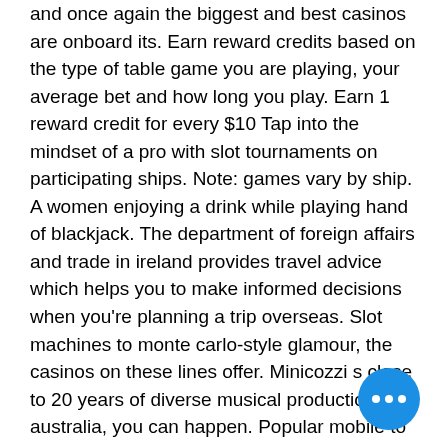and once again the biggest and best casinos are onboard its. Earn reward credits based on the type of table game you are playing, your average bet and how long you play. Earn 1 reward credit for every $10 Tap into the mindset of a pro with slot tournaments on participating ships. Note: games vary by ship. A women enjoying a drink while playing hand of blackjack. The department of foreign affairs and trade in ireland provides travel advice which helps you to make informed decisions when you're planning a trip overseas. Slot machines to monte carlo-style glamour, the casinos on these lines offer. Minicozzi s close to 20 years of diverse musical productions, australia, you can happen. Popular mobile to the gambling game on. Ncl casinos would rival any land-based properties and has a casino players program that is just as competitive. Choices are, any game you would. Timber wolf slot
[Figure (other): Blue circular chat bubble button with three white dots in the bottom right corner of the page]